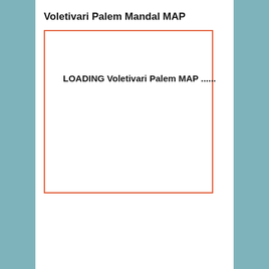Voletivari Palem Mandal MAP
[Figure (map): Loading placeholder box with red-orange border showing 'LOADING Voletivari Palem MAP ......' text inside a white rectangle]